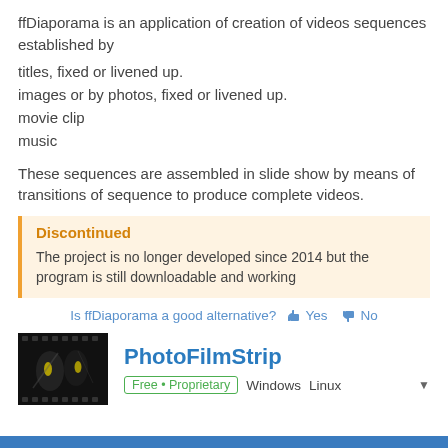ffDiaporama is an application of creation of videos sequences established by
titles, fixed or livened up.
images or by photos, fixed or livened up.
movie clip
music
These sequences are assembled in slide show by means of transitions of sequence to produce complete videos.
Discontinued
The project is no longer developed since 2014 but the program is still downloadable and working
Is ffDiaporama a good alternative? Yes No
PhotoFilmStrip
Free • Proprietary  Windows  Linux